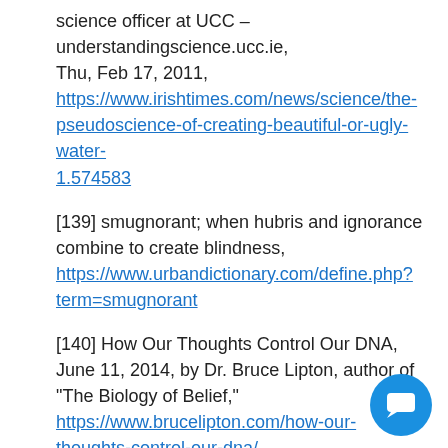science officer at UCC – understandingscience.ucc.ie, Thu, Feb 17, 2011, https://www.irishtimes.com/news/science/the-pseudoscience-of-creating-beautiful-or-ugly-water-1.574583
[139] smugnorant; when hubris and ignorance combine to create blindness, https://www.urbandictionary.com/define.php?term=smugnorant
[140] How Our Thoughts Control Our DNA, June 11, 2014, by Dr. Bruce Lipton, author of "The Biology of Belief," https://www.brucelipton.com/how-our-thoughts-control-our-dna/
[141] Conclusion: We did not find sufficient evidence to refute or accept Emoto's hypothesis – AP Psychology class, Durango High School